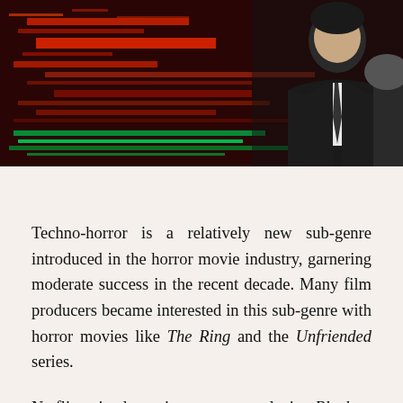[Figure (illustration): A dark techno-horror themed illustration with red and green digital/glitch elements on the left side, and a man in a dark suit and tie on the right side against a dark background.]
Techno-horror is a relatively new sub-genre introduced in the horror movie industry, garnering moderate success in the recent decade. Many film producers became interested in this sub-genre with horror movies like The Ring and the Unfriended series.
Netflix gained massive success producing Black